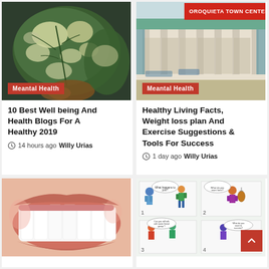[Figure (photo): Close-up of a variegated plant leaf with green and white pattern on dark background]
Meantal Health
10 Best Well being And Health Blogs For A Healthy 2019
14 hours ago  Willy Urias
[Figure (photo): Exterior of Oroquieta Town Center building with blue and green facade]
Meantal Health
Healthy Living Facts, Weight loss plan And Exercise Suggestions & Tools For Success
1 day ago  Willy Urias
[Figure (photo): Close-up of a woman smiling showing white teeth]
[Figure (illustration): Comic-style illustration showing people in conversation with speech bubbles]